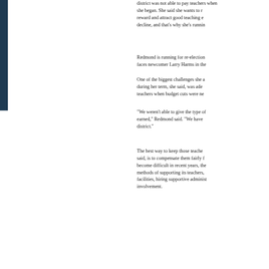district was not able to pay teachers when she began. She said she wants to reward and attract good teaching even in decline, and that's why she's running.
Redmond is running for re-election and faces newcomer Larry Harms in the
One of the biggest challenges she faced during her term, she said, was adequately supporting teachers when budget cuts were necessary.
“We weren't able to give the type of raises earned,” Redmond said. “We have district.”
The best way to keep those teachers, she said, is to compensate them fairly for what has become difficult in recent years, the methods of supporting its teachers, facilities, hiring supportive administrators, involvement.